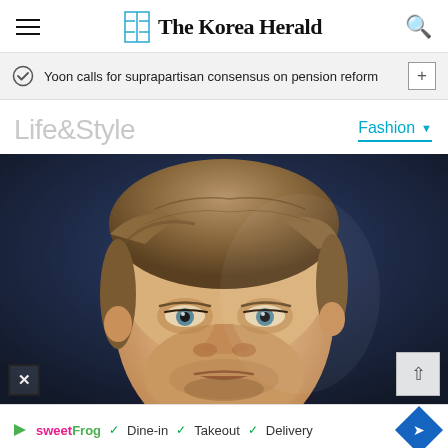The Korea Herald
Yoon calls for suprapartisan consensus on pension reform
Life&Style
Fashion
[Figure (photo): Close-up portrait of a man with medium-length brown hair against a dark blue background, looking slightly upward]
sweetFrog  ✓ Dine-in  ✓ Takeout  ✓ Delivery